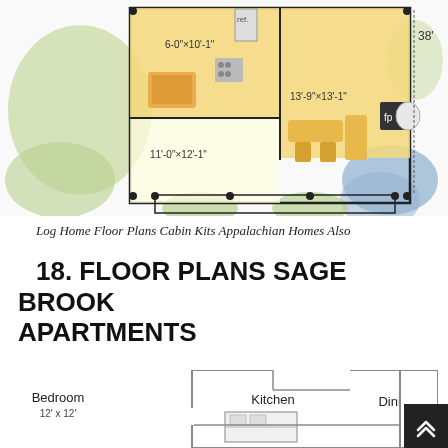[Figure (engineering-diagram): Colored architectural floor plan of a log cabin/home showing kitchen (6-0x10-1), dining/living areas (11-0x12-1 and 13-9x13-1), a fireplace (fp), a refrigerator (ref), and an exterior measurement of 38 feet. Surrounded by illustrated landscaping (trees, shrubs).]
Log Home Floor Plans Cabin Kits Appalachian Homes Also
18. FLOOR PLANS SAGE BROOK APARTMENTS
[Figure (engineering-diagram): Apartment floor plan showing a Bedroom (12x12), Kitchen, and Dining Room in a simple black-and-white line drawing layout.]